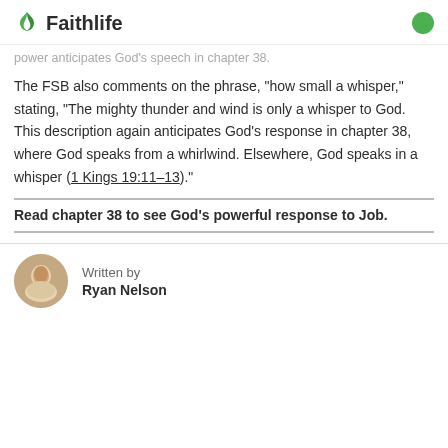Faithlife
power anticipates God's speech in chapter 38.
The FSB also comments on the phrase, “how small a whisper,” stating, “The mighty thunder and wind is only a whisper to God. This description again anticipates God’s response in chapter 38, where God speaks from a whirlwind. Elsewhere, God speaks in a whisper (1 Kings 19:11–13).”
Read chapter 38 to see God’s powerful response to Job.
Written by
Ryan Nelson